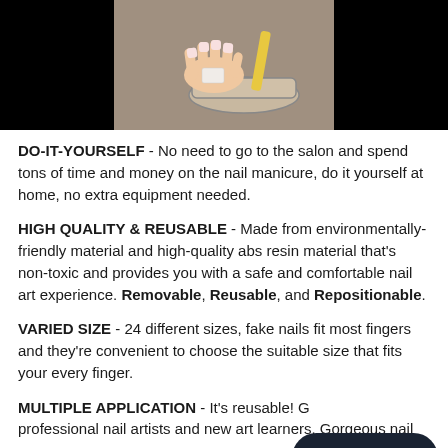[Figure (photo): A photo showing hands working on nail manicure with a bowl and nail file, set against a dark/black background on the sides and a grey-brown center.]
DO-IT-YOURSELF - No need to go to the salon and spend tons of time and money on the nail manicure, do it yourself at home, no extra equipment needed.
HIGH QUALITY & REUSABLE - Made from environmentally-friendly material and high-quality abs resin material that's non-toxic and provides you with a safe and comfortable nail art experience. Removable, Reusable, and Repositionable.
VARIED SIZE - 24 different sizes, fake nails fit most fingers and they're convenient to choose the suitable size that fits your every finger.
MULTIPLE APPLICATION - It's reusable! Great for professional nail artists and new art learners. Gorgeous nail